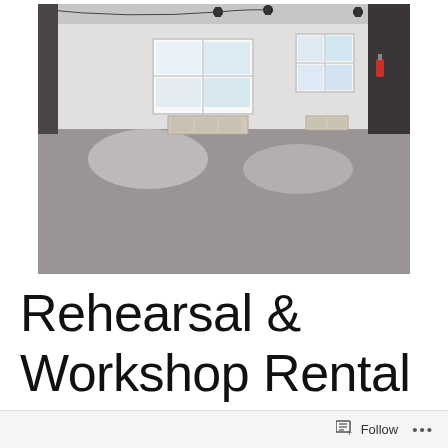[Figure (photo): Interior of a large empty rehearsal or workshop space with polished gray concrete floors, white walls, two large windows letting in bright light, stage lighting equipment on the ceiling, and heating units below the windows.]
Rehearsal & Workshop Rental
Follow ...